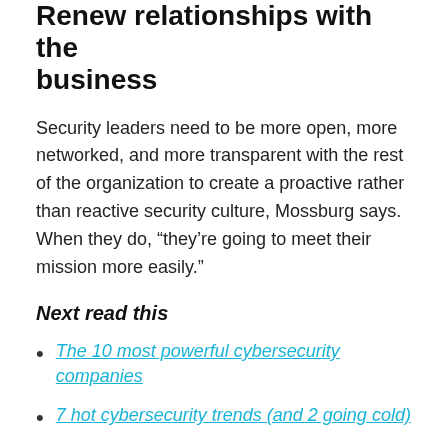Renew relationships with the business
Security leaders need to be more open, more networked, and more transparent with the rest of the organization to create a proactive rather than reactive security culture, Mossburg says. When they do, “they’re going to meet their mission more easily.”
Next read this
The 10 most powerful cybersecurity companies
7 hot cybersecurity trends (and 2 going cold)
The Apache Log4j vulnerabilities: A timeline